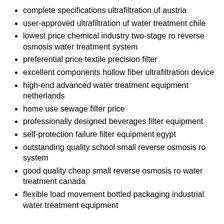complete specifications ultrafiltration uf austria
user-approved ultrafiltration uf water treatment chile
lowest price chemical industry two-stage ro reverse osmosis water treatment system
preferential price textile precision filter
excellent components hollow fiber ultrafiltration device
high-end advanced water treatment equipment netherlands
home use sewage filter price
professionally designed beverages filter equipment
self-protection failure filter equipment egypt
outstanding quality school small reverse osmosis ro system
good quality cheap small reverse osmosis ro water treatment canada
flexible load movement bottled packaging industrial water treatment equipment